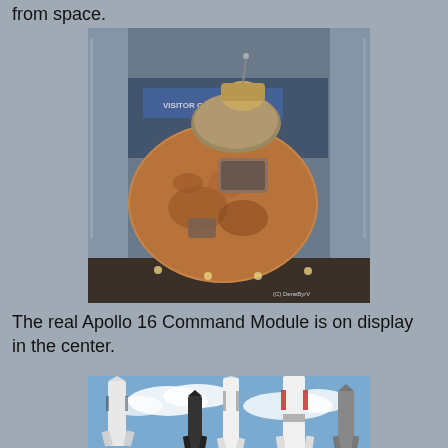from space.
[Figure (photo): Apollo 16 Command Module on display inside a glass enclosure at a museum center. The capsule shows heat-shield burn marks from re-entry. Photo credit: (C) DeneByrV]
The real Apollo 16 Command Module is on display in the center.
[Figure (photo): Outdoor rocket garden showing multiple rockets and missiles of various sizes against a blue sky with clouds.]